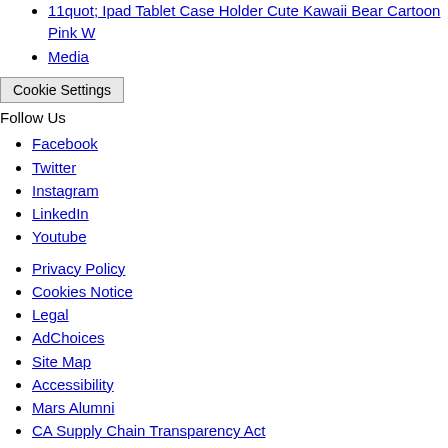11quot; Ipad Tablet Case Holder Cute Kawaii Bear Cartoon Pink W
Media
Cookie Settings
Follow Us
Facebook
Twitter
Instagram
LinkedIn
Youtube
Privacy Policy
Cookies Notice
Legal
AdChoices
Site Map
Accessibility
Mars Alumni
CA Supply Chain Transparency Act
Modern Slavery Act
Suppliers Directory
© 2022 Mars, Incorporated and its Affiliates. All Rights Reserved